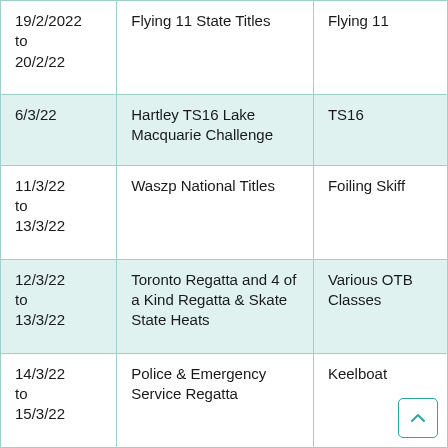| 19/2/2022 to 20/2/22 | Flying 11 State Titles | Flying 11 |
| 6/3/22 | Hartley TS16 Lake Macquarie Challenge | TS16 |
| 11/3/22 to 13/3/22 | Waszp National Titles | Foiling Skiff |
| 12/3/22 to 13/3/22 | Toronto Regatta and 4 of a Kind Regatta & Skate State Heats | Various OTB Classes |
| 14/3/22 to 15/3/22 | Police & Emergency Service Regatta | Keelboat |